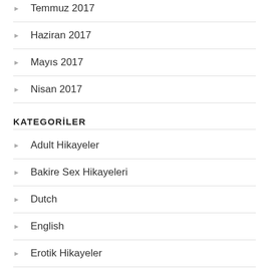Temmuz 2017
Haziran 2017
Mayıs 2017
Nisan 2017
KATEGORİLER
Adult Hikayeler
Bakire Sex Hikayeleri
Dutch
English
Erotik Hikayeler
French